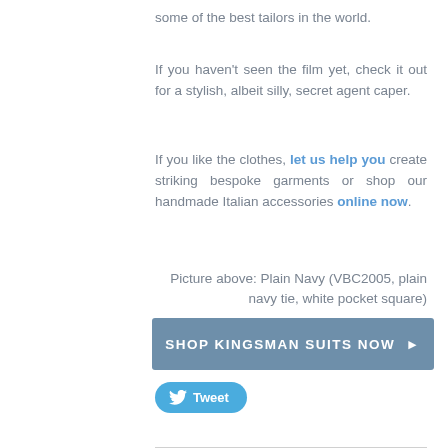some of the best tailors in the world.
If you haven't seen the film yet, check it out for a stylish, albeit silly, secret agent caper.
If you like the clothes, let us help you create striking bespoke garments or shop our handmade Italian accessories online now.
Picture above: Plain Navy (VBC2005, plain navy tie, white pocket square)
[Figure (other): Call-to-action button reading SHOP KINGSMAN SUITS NOW with arrow]
[Figure (other): Twitter Tweet button]